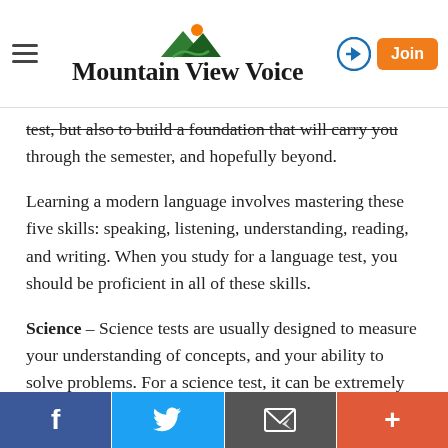Mountain View Voice
test, but also to build a foundation that will carry you through the semester, and hopefully beyond.
Learning a modern language involves mastering these five skills: speaking, listening, understanding, reading, and writing. When you study for a language test, you should be proficient in all of these skills.
Science – Science tests are usually designed to measure your understanding of concepts, and your ability to solve problems. For a science test, it can be extremely helpful to do outside reading to reinforce the concepts you learned in class. Hop online and look at Khan Academy videos. Check the science section of the New York Times.
f | Twitter bird | email | +